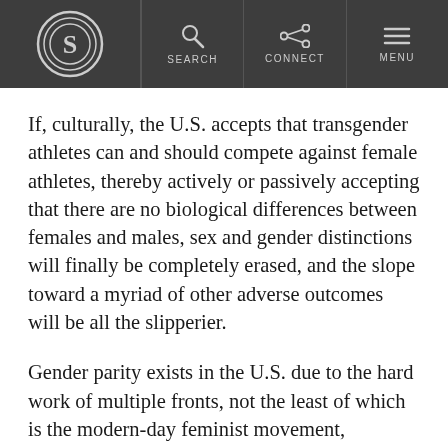S [logo] | SEARCH | CONNECT | MENU
If, culturally, the U.S. accepts that transgender athletes can and should compete against female athletes, thereby actively or passively accepting that there are no biological differences between females and males, sex and gender distinctions will finally be completely erased, and the slope toward a myriad of other adverse outcomes will be all the slipperier.
Gender parity exists in the U.S. due to the hard work of multiple fronts, not the least of which is the modern-day feminist movement, lawmakers on both sides, women like the late Supreme Court Justice Ruth Bader Ginsburg, and even men like former